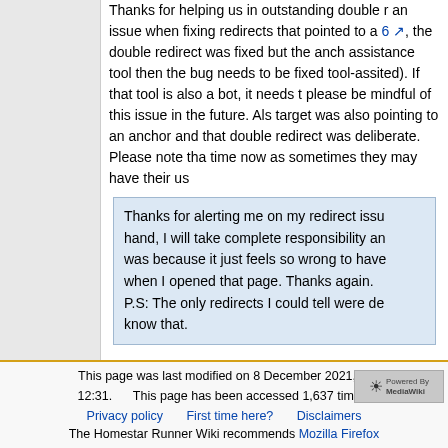Thanks for helping us in outstanding double redirects. There was an issue when fixing redirects that pointed to an anchor. [6], the double redirect was fixed but the anchor assistance tool then the bug needs to be fixed tool-assited). If that tool is also a bot, it needs please be mindful of this issue in the future. Also target was also pointing to an anchor and that double redirect was deliberate. Please note that time now as sometimes they may have their us
Thanks for alerting me on my redirect issu hand, I will take complete responsibility an was because it just feels so wrong to have when I opened that page. Thanks again. P.S: The only redirects I could tell were de know that.
This page was last modified on 8 December 2021, at 12:31. This page has been accessed 1,637 times. Privacy policy   First time here?   Disclaimers   The Homestar Runner Wiki recommends Mozilla Firefox